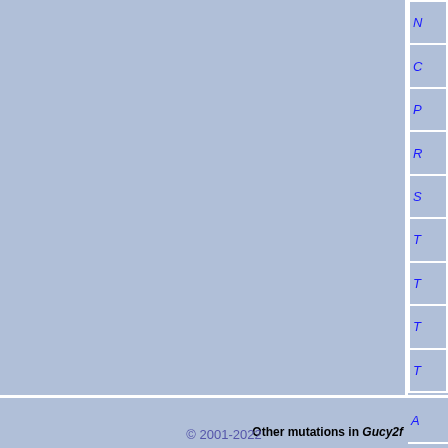|  |  |
| --- | --- |
|  | N... |
|  | C... |
|  | P... |
|  | R... |
|  | S... |
|  | T... |
|  | T... |
|  | T... |
|  | T... |
| Other mutations in Gucy2f | A... |
|  | IC... |
|  | IC... |
|  | R... |
| Posted On | 20... |
© 2001-2022